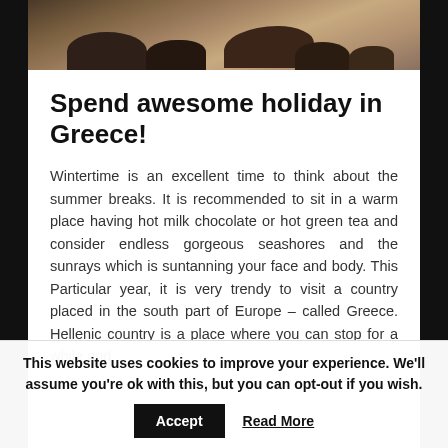[Figure (photo): Top portion of a photo showing rocky coastal or beach scenery with sandy tones and dark rocks]
Spend awesome holiday in Greece!
Wintertime is an excellent time to think about the summer breaks. It is recommended to sit in a warm place having hot milk chocolate or hot green tea and consider endless gorgeous seashores and the sunrays which is suntanning your face and body. This Particular year, it is very trendy to visit a country placed in the south part of Europe – called Greece. Hellenic country is a place where you can stop for a while and
This website uses cookies to improve your experience. We'll assume you're ok with this, but you can opt-out if you wish.
Accept   Read More